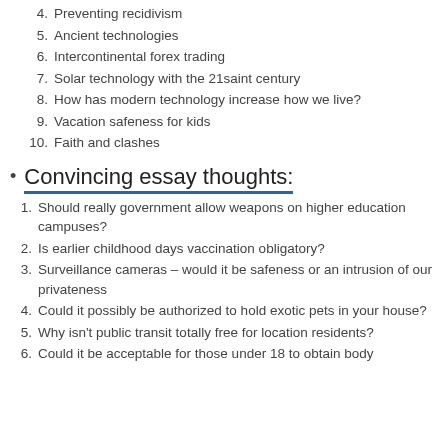4. Preventing recidivism
5. Ancient technologies
6. Intercontinental forex trading
7. Solar technology with the 21saint century
8. How has modern technology increase how we live?
9. Vacation safeness for kids
10. Faith and clashes
Convincing essay thoughts:
1. Should really government allow weapons on higher education campuses?
2. Is earlier childhood days vaccination obligatory?
3. Surveillance cameras – would it be safeness or an intrusion of our privateness
4. Could it possibly be authorized to hold exotic pets in your house?
5. Why isn't public transit totally free for location residents?
6. Could it be acceptable for those under 18 to obtain body